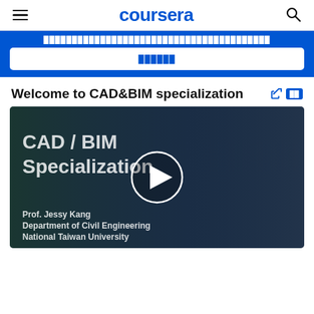coursera
████████████████████████████████████████
██████
Welcome to CAD&BIM specialization
[Figure (screenshot): Video thumbnail showing CAD / BIM Specialization title with Prof. Jessy Kang, Department of Civil Engineering, National Taiwan University. A play button is centered over the dark video frame.]